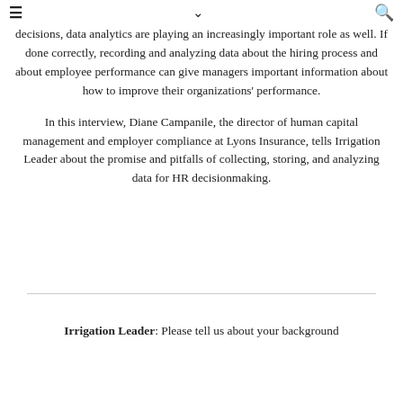☰ ∨ 🔍
decisions, data analytics are playing an increasingly important role as well. If done correctly, recording and analyzing data about the hiring process and about employee performance can give managers important information about how to improve their organizations' performance.
In this interview, Diane Campanile, the director of human capital management and employer compliance at Lyons Insurance, tells Irrigation Leader about the promise and pitfalls of collecting, storing, and analyzing data for HR decisionmaking.
Irrigation Leader: Please tell us about your background